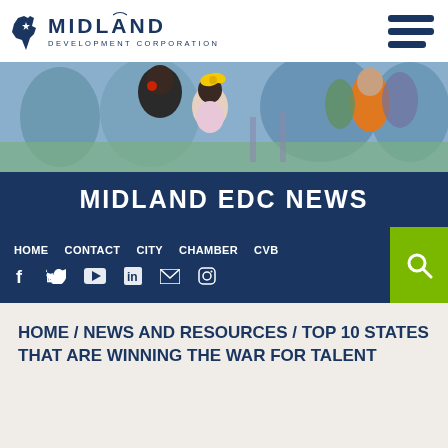MIDLAND DEVELOPMENT CORPORATION — Logo and hamburger menu
[Figure (photo): Photo of adults and children at an outdoor event, playground setting]
MIDLAND EDC NEWS
HOME  CONTACT  CITY  CHAMBER  CVB — navigation links and social media icons (Facebook, Twitter, YouTube, LinkedIn, Email, Instagram) with search button
HOME / NEWS AND RESOURCES / TOP 10 STATES THAT ARE WINNING THE WAR FOR TALENT